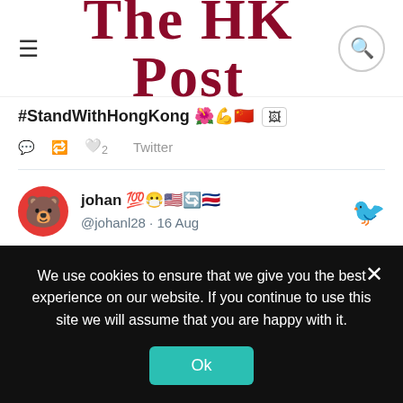The HK Post
#StandWithHongKong 🌺💪🇨🇳
♡ 2   Twitter
johan 💯😷🇺🇸🔄🇨🇷 @johanl28 · 16 Aug
@AJEnglish #HongKongProtests
#FreeHongKong
#StandWithHongKong 🌺🇨🇳💪
We use cookies to ensure that we give you the best experience on our website. If you continue to use this site we will assume that you are happy with it.